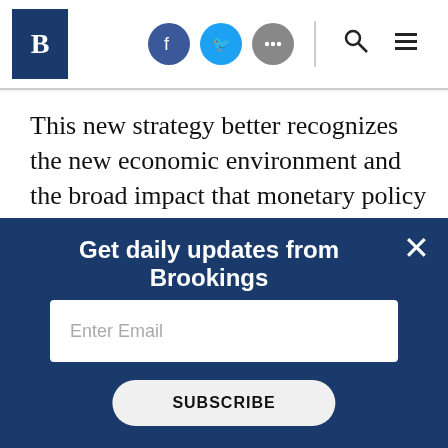B [Brookings logo] | [Facebook] [Twitter] [More] | [Search] [Menu]
This new strategy better recognizes the new economic environment and the broad impact that monetary policy has on all members of our society. It acknowledges the benefit of long, strong expansions to low- and moderate-income communities. It is an implicit recognition that the FOMC cannot pinpoint the natural rate of
Get daily updates from Brookings
Enter Email
SUBSCRIBE